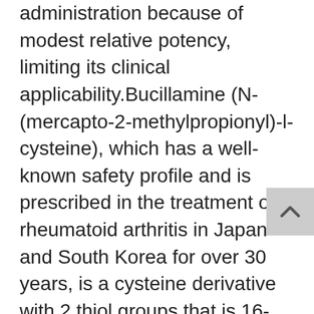administration because of modest relative potency, limiting its clinical applicability.Bucillamine (N-(mercapto-2-methylpropionyl)-l-cysteine), which has a well-known safety profile and is prescribed in the treatment of rheumatoid arthritis in Japan and South Korea for over 30 years, is a cysteine derivative with 2 thiol groups that is 16-fold more potent than NAC as a thiol donor in vivo, giving it vastly superior function in restoring glutathione and therefore greater potential to prevent acute lung injury during influenza infection.8  Bucillamine has also been shown to prevent oxidative and reperfusion injury in heart and liver tissues8 and is highly cell permeable for efficient delivery into cells.8,9  Bucillamine has unrealized potential for the treatment of influenza with both proven safety and proven mechanism of action similar to that of NAC, but with much higher potency,